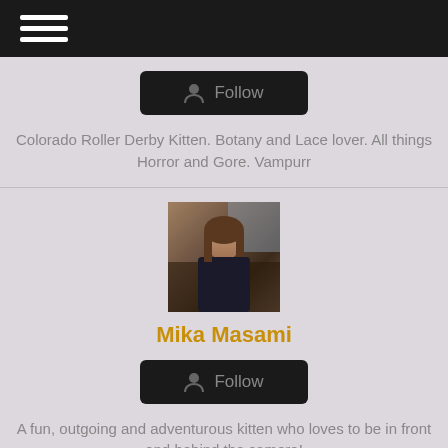[Figure (screenshot): Top navigation bar with hamburger menu icon (three white horizontal lines) on dark/black background]
[Figure (other): Black Follow button with person/user icon and 'Follow' text in gray]
Colorado Roller Derby Kitten. Botany and Lace lover. All things Horror and Gore. Vampurr
[Figure (photo): Profile photo of Mika Masami - woman in dark clothing]
Mika Masami
[Figure (other): Black Follow button with person/user icon and 'Follow' text in gray]
A fun, outgoing and adventurous kitten who loves to be in front and behind the camera!
[Figure (photo): Partial profile photo visible at bottom of page - woman with blonde hair]